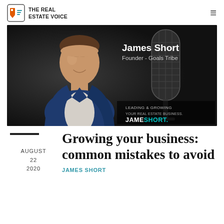THE REAL ESTATE VOICE
[Figure (photo): Professional headshot of James Short in a blue blazer, smiling, against a dark background with a microphone. Text overlay reads: James Short, Founder - Goals Tribe. Bottom right badge: LEADING & GROWING YOUR REAL ESTATE BUSINESS. JAMESHORT.]
Growing your business: common mistakes to avoid
AUGUST 22 2020
JAMES SHORT